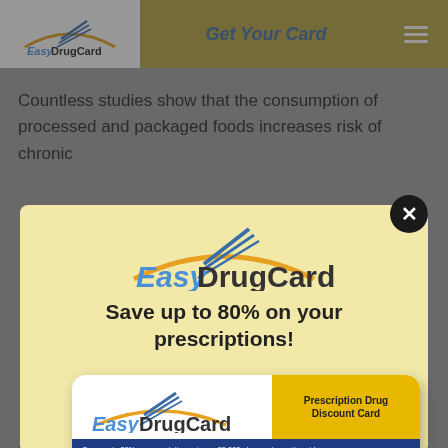Get Your Card
Countless studies show that the consumption of processed and packaged foods increases risk of chronic
[Figure (screenshot): EasyDrugCard modal popup with logo, tagline 'Save up to 80% on your prescriptions!', and a prescription drug discount card image showing Group ID: EDC6222, Member ID: 623394, Save up to 80% on prescriptions at over 65,000 pharmacies nationwide]
Save up to 80% on your prescriptions!
Prescription Drug Discount Card
Save up to 80% on prescriptions at over 65,000 pharmacies nationwide
Group ID: EDC6222
Member ID: 623394